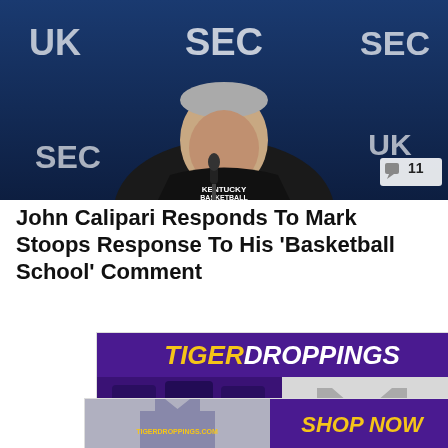[Figure (photo): John Calipari speaking at a press conference with SEC and Kentucky Wildcats branding in the background. A comment bubble with the number 11 appears in the bottom right corner.]
John Calipari Responds To Mark Stoops Response To His 'Basketball School' Comment
[Figure (other): Tiger Droppings advertisement showing branded koozies and a TD t-shirt.]
[Figure (other): Tiger Droppings Shop Now advertisement showing a purple t-shirt and Shop Now call to action.]